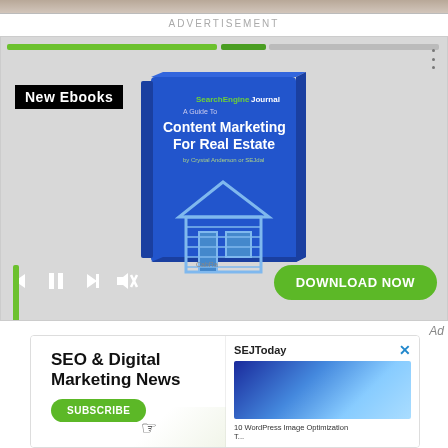[Figure (screenshot): Top cropped photo of people]
ADVERTISEMENT
[Figure (screenshot): Advertisement banner for Search Engine Journal ebook 'A Guide To Content Marketing For Real Estate'. Shows a blue book cover with house graphic, 'New Ebooks' label in black/white, video player controls (previous, pause, next, mute), and a green 'DOWNLOAD NOW' button. Green progress bar at top. CabRa branding at bottom.]
Ad
[Figure (screenshot): Bottom advertisement popup for 'SEO & Digital Marketing News' subscribe with SEJToday panel showing WordPress image optimization article. Has an X close button.]